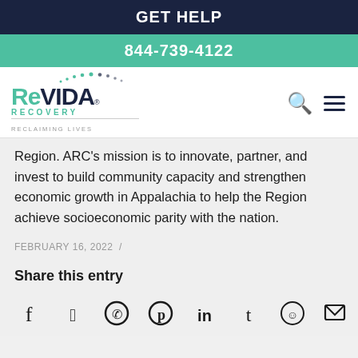GET HELP
844-739-4122
[Figure (logo): ReVIDA Recovery logo with dots, tagline RECLAIMING LIVES]
Region. ARC's mission is to innovate, partner, and invest to build community capacity and strengthen economic growth in Appalachia to help the Region achieve socioeconomic parity with the nation.
FEBRUARY 16, 2022  /
Share this entry
[Figure (infographic): Social share icons: Facebook, Twitter, WhatsApp, Pinterest, LinkedIn, Tumblr, Reddit, Email]